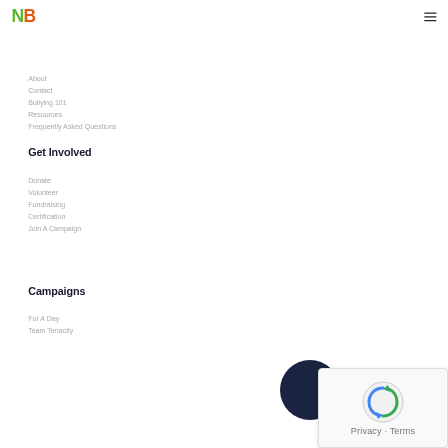[Figure (logo): NB logo with N in green and B in orange]
[Figure (other): Hamburger menu icon (three horizontal lines)]
About
Contact
Bullying 101
Resources
Frequently Asked Questions
Get Involved
Donate
Volunteer
Fundraising
Certification
Join A Campaign
Campaigns
For A Day
Team Tenacity
[Figure (other): reCAPTCHA widget with Google logo and Privacy/Terms links]